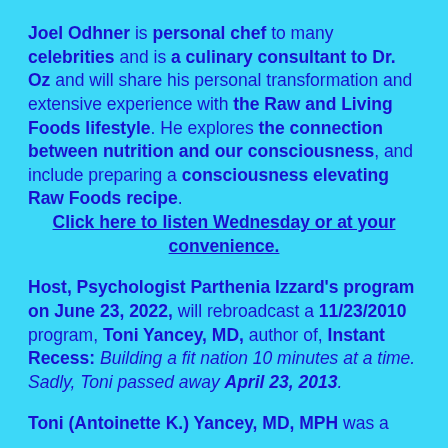Joel Odhner is personal chef to many celebrities and is a culinary consultant to Dr. Oz and will share his personal transformation and extensive experience with the Raw and Living Foods lifestyle. He explores the connection between nutrition and our consciousness, and include preparing a consciousness elevating Raw Foods recipe. Click here to listen Wednesday or at your convenience.
Host, Psychologist Parthenia Izzard's program on June 23, 2022, will rebroadcast a 11/23/2010 program, Toni Yancey, MD, author of, Instant Recess: Building a fit nation 10 minutes at a time. Sadly, Toni passed away April 23, 2013.
Toni (Antoinette K.) Yancey, MD, MPH was a